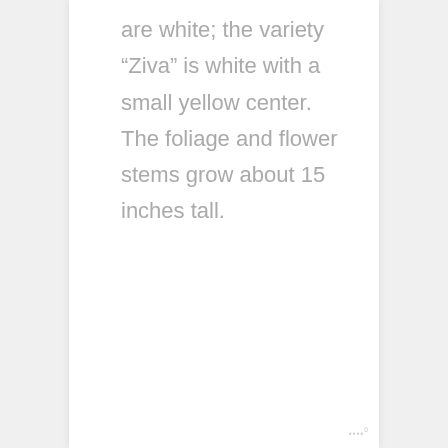are white; the variety “Ziva” is white with a small yellow center. The foliage and flower stems grow about 15 inches tall.